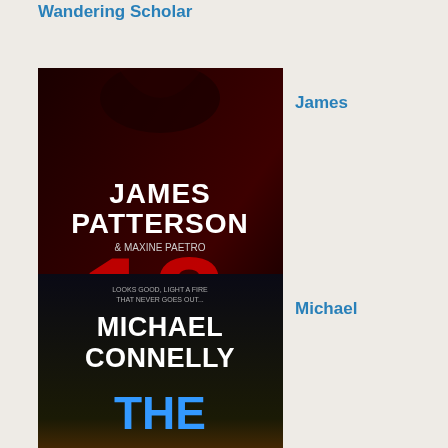Wandering Scholar
James
[Figure (photo): Book cover: James Patterson & Maxine Paetro - 18th Abduction]
Patterson: 18th Abduction
Michael
[Figure (photo): Book cover: Michael Connelly - The Night Fire]
Connelly: The Night Fire
Peter
dec to spl out and Y tak a